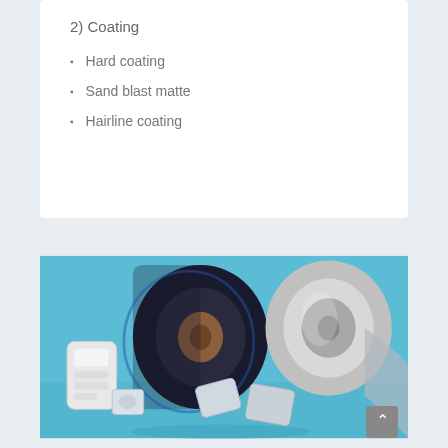2) Coating
Hard coating
Sand blast matte
Hairline coating
[Figure (photo): Photo showing rolls of plastic/film material (one dark/black roll, one shiny metallic roll) alongside various blister/packaging samples on a blue background]